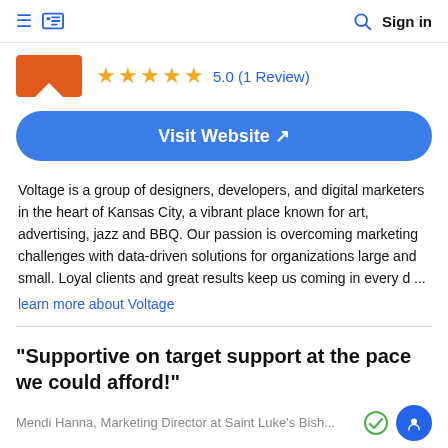≡  [logo]  [search]  Sign in
[Figure (logo): Orange rectangle logo with white notch cut at bottom center, followed by 5 gold stars and rating text]
5.0 (1 Review)
Visit Website ↗
Voltage is a group of designers, developers, and digital marketers in the heart of Kansas City, a vibrant place known for art, advertising, jazz and BBQ. Our passion is overcoming marketing challenges with data-driven solutions for organizations large and small. Loyal clients and great results keep us coming in every d ...
learn more about Voltage
"Supportive on target support at the pace we could afford!"
Mendi Hanna, Marketing Director at Saint Luke's Bish...